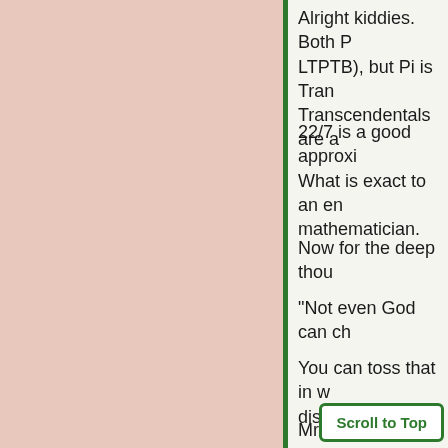Alright kiddies. Both P... LTPTB), but Pi is Tran... Transcendentals are a...
22/7 is a good approxi... What is exact to an en... mathematician.
Now for the deep thou...
"Not even God can ch...
You can toss that in w... discussions.
Mr. Nab.
Scroll to Top